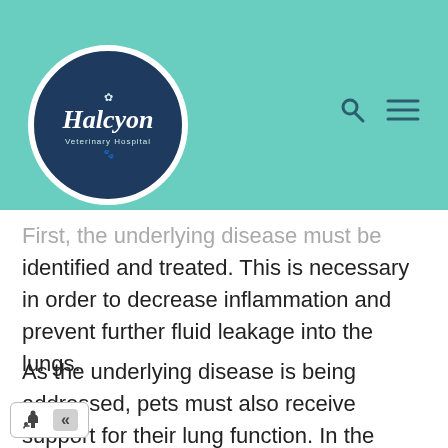Halcyon Veterinary Hospital
First, the underlying disease must be identified and treated. This is necessary in order to decrease inflammation and prevent further fluid leakage into the lungs.
As the underlying disease is being addressed, pets must also receive support for their lung function. In the early stages, this often involves supplementing oxygen with the use of an oxygen cage, or a line that carries oxygen directly into the nasal passages. In more severe cases, however, cats often must be placed on a mechanical ventilator. This requires the cat to be fully anesthetized so that a tube can be